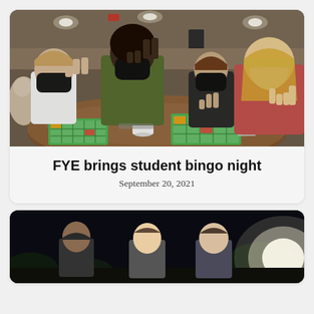[Figure (photo): Students sitting around a round table playing bingo, all wearing face masks, making hand gestures toward the camera. Green bingo cards visible on the table. Indoor event hall setting.]
FYE brings student bingo night
September 20, 2021
[Figure (photo): Three students standing outdoors at night, lit by a bright light in the background. Dark environment.]